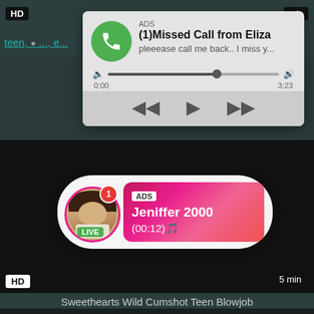[Figure (screenshot): ADS notification popup showing a phone call notification. Green phone icon on left. Text: ADS, (1)Missed Call from Eliza, pleeease call me back.. I miss y... Audio player with progress bar showing 0:00 to 3:23. Playback controls: rewind, play, fast forward buttons.]
teen, ... e...
[Figure (screenshot): Live video advertisement card with circular profile photo of a young woman with pink border and LIVE badge. Red notification badge showing 1. Pink gradient box with ADS label, name Jeniffer 2000, time (00:12).]
HD
5 min
Sweethearts Wild Cumshot Teen Blowjob
cumshot, teen, blowjob, smalltits, 8teen, hardcore sex, bi...